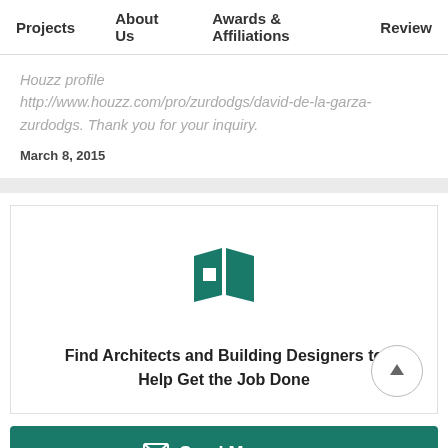Projects    About Us    Awards & Affiliations    Review
Houzz profile http://www.houzz.com/pro/zurdodgs/david-de-la-garza-zurdodgs.  Thank you for your inquiry.
March 8, 2015
[Figure (logo): Houzz open-book logo icon in teal/dark green]
Find Architects and Building Designers to Help Get the Job Done
Send Message